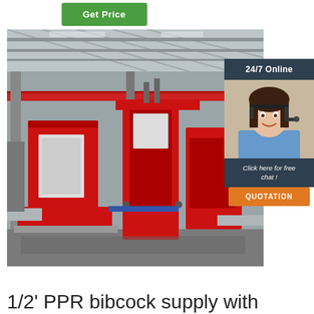[Figure (other): Green 'Get Price' button at top]
[Figure (photo): Industrial manufacturing facility with large red and white band saw machinery in a warehouse setting with high ceiling]
[Figure (other): 24/7 Online chat widget with female customer service agent wearing headset, 'Click here for free chat!' text, and orange QUOTATION button]
1/2' PPR bibcock supply with